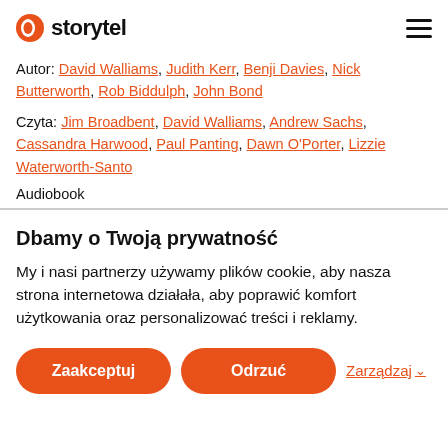storytel
Autor: David Walliams, Judith Kerr, Benji Davies, Nick Butterworth, Rob Biddulph, John Bond
Czyta: Jim Broadbent, David Walliams, Andrew Sachs, Cassandra Harwood, Paul Panting, Dawn O'Porter, Lizzie Waterworth-Santo
Audiobook
Dbamy o Twoją prywatność
My i nasi partnerzy używamy plików cookie, aby nasza strona internetowa działała, aby poprawić komfort użytkowania oraz personalizować treści i reklamy.
Zaakceptuj
Odrzuć
Zarządzaj